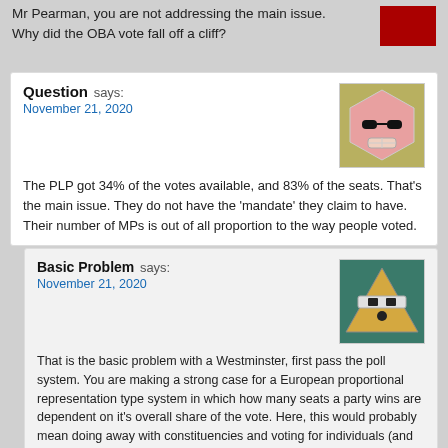Mr Pearman, you are not addressing the main issue. Why did the OBA vote fall off a cliff?
Question says:
November 21, 2020

The PLP got 34% of the votes available, and 83% of the seats. That's the main issue. They do not have the 'mandate' they claim to have. Their number of MPs is out of all proportion to the way people voted.
Basic Problem says:
November 21, 2020

That is the basic problem with a Westminster, first pass the poll system. You are making a strong case for a European proportional representation type system in which how many seats a party wins are dependent on it's overall share of the vote. Here, this would probably mean doing away with constituencies and voting for individuals (and their parties) in order of preference – 36 seats, chose 36 names from the list in order of preference. The results would be interesting: Bernews, maybe you should come up with a list of say 100 prominent names and have a mini "election" on your site to see what happens.